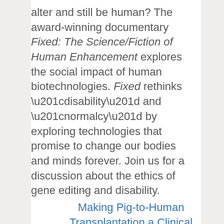alter and still be human? The award-winning documentary Fixed: The Science/Fiction of Human Enhancement explores the social impact of human biotechnologies. Fixed rethinks “disability” and “normalcy” by exploring technologies that promise to change our bodies and minds forever. Join us for a discussion about the ethics of gene editing and disability.
...
Making Pig-to-Human Transplantation a Clinical